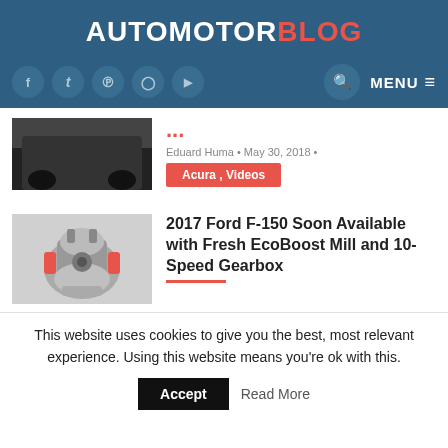AUTOMOTORBLOG
[Figure (screenshot): Partially visible car image (dark vehicle from rear angle)]
...
Eduard Huma · May 30, 2018 ·
Acura , Videos
[Figure (photo): Engine photo - EcoBoost mill on display stand, grayscale/color]
2017 Ford F-150 Soon Available with Fresh EcoBoost Mill and 10-Speed Gearbox
This website uses cookies to give you the best, most relevant experience. Using this website means you're ok with this.
Accept   Read More